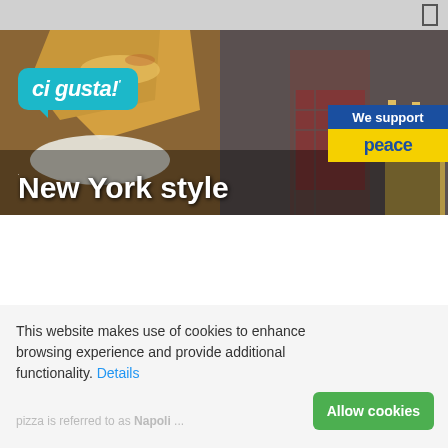[Figure (screenshot): Website screenshot of 'ci gusta!' pizza restaurant page showing a hero banner with New York style pizza image, logo, peace support badge, and a cookie consent banner at the bottom.]
New York style
We support peace
This website makes use of cookies to enhance browsing experience and provide additional functionality. Details Allow cookies